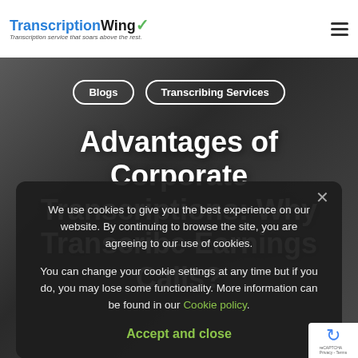TranscriptionWing — Transcription service that soars above the rest.
[Figure (screenshot): Hero background: blurred photo of a businessman in a suit, dark overlay]
Blogs | Transcribing Services
Advantages of Corporate Transcriptions: Why Transcribe Earnings Calls?
We use cookies to give you the best experience on our website. By continuing to browse the site, you are agreeing to our use of cookies.
You can change your cookie settings at any time but if you do, you may lose some functionality. More information can be found in our Cookie policy.
Accept and close